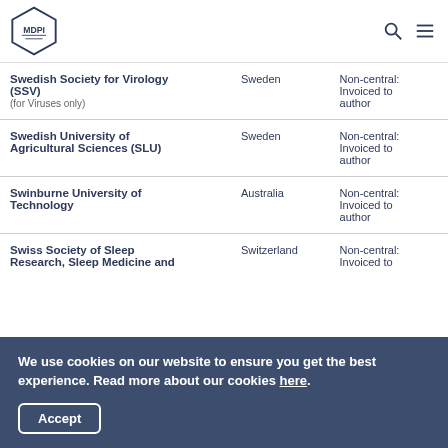MDPI
| Institution | Country | Billing |
| --- | --- | --- |
| Swedish Society for Virology (SSV) (for Viruses only) | Sweden | Non-central: Invoiced to author |
| Swedish University of Agricultural Sciences (SLU) | Sweden | Non-central: Invoiced to author |
| Swinburne University of Technology | Australia | Non-central: Invoiced to author |
| Swiss Society of Sleep Research, Sleep Medicine and | Switzerland | Non-central: Invoiced to |
We use cookies on our website to ensure you get the best experience. Read more about our cookies here. Accept